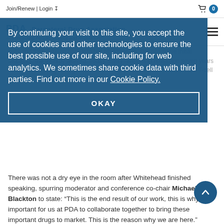Join/Renew | Login  🛒 0
[Figure (logo): PDA Parenteral Drug Association logo with tagline 'Connecting People, Science and Regulation']
By continuing your visit to this site, you accept the use of cookies and other technologies to ensure the best possible use of our site, including for web analytics. We sometimes share cookie data with third parties. Find out more in our Cookie Policy.
OKAY
cells and then infused back into her bloodstream. Despite some initial setbacks, the therapy worked. Today, Emily remains in remission seven years later. She is recognized globally as the first pediatric patient cured via a T-cell therapy.
There was not a dry eye in the room after Whitehead finished speaking, spurring moderator and conference co-chair Michael Blackton to state: “This is the end result of our work, this is why it is important for us at PDA to collaborate together to bring these important drugs to market. This is the reason why we are here.”
The next speaker (who had a tough act to follow!),